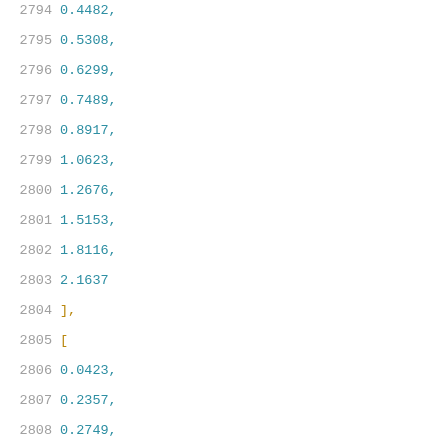2794    0.4482,
2795    0.5308,
2796    0.6299,
2797    0.7489,
2798    0.8917,
2799    1.0623,
2800    1.2676,
2801    1.5153,
2802    1.8116,
2803    2.1637
2804    ],
2805    [
2806    0.0423,
2807    0.2357,
2808    0.2749,
2809    0.3228,
2810    0.3794,
2811    0.4485,
2812    0.5305,
2813    0.63,
2814    0.7489,
2815    0.8906,